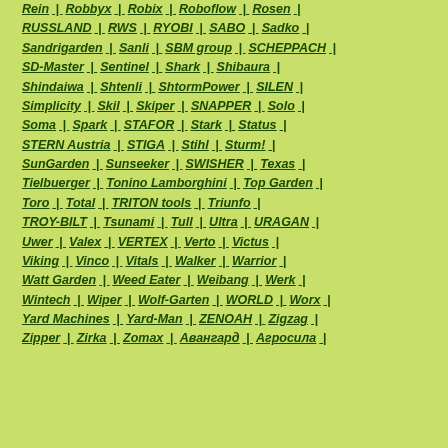Rein | Robbyx | Robix | Roboflow | Rosen |
RUSSLAND | RWS | RYOBI | SABO | Sadko |
Sandrigarden | Sanli | SBM group | SCHEPPACH |
SD-Master | Sentinel | Shark | Shibaura |
Shindaiwa | Shtenli | ShtormPower | SILEN |
Simplicity | Skil | Skiper | SNAPPER | Solo |
Soma | Spark | STAFOR | Stark | Status |
STERN Austria | STIGA | Stihl | Sturm! |
SunGarden | Sunseeker | SWISHER | Texas |
Tielbuerger | Tonino Lamborghini | Top Garden |
Toro | Total | TRITON tools | Triunfo |
TROY-BILT | Tsunami | Tull | Ultra | URAGAN |
Uwer | Valex | VERTEX | Verto | Victus |
Viking | Vinco | Vitals | Walker | Warrior |
Watt Garden | Weed Eater | Weibang | Werk |
Wintech | Wiper | Wolf-Garten | WORLD | Worx |
Yard Machines | Yard-Man | ZENOAH | Zigzag |
Zipper | Zirka | Zomax | Авангард | Агросила |